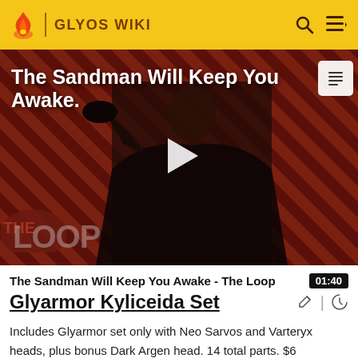GLYOS WIKI
[Figure (screenshot): Video thumbnail showing a dark-caped figure against a red and black diagonal striped background, with 'The Sandman Will Keep You Awake.' text overlay and THE LOOP logo in lower left. A play button triangle is centered on the image.]
The Sandman Will Keep You Awake - The Loop  01:40
Glyarmor Kyliceida Set
Includes Glyarmor set only with Neo Sarvos and Varteryx heads, plus bonus Dark Argen head. 14 total parts. $6